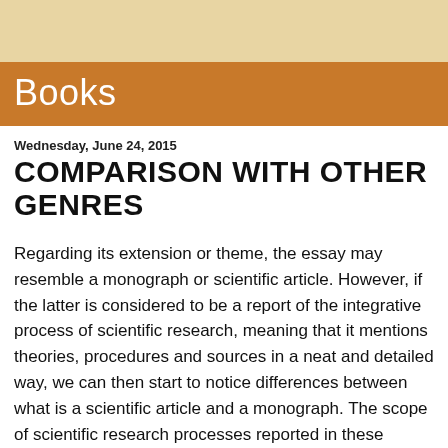Books
Wednesday, June 24, 2015
COMPARISON WITH OTHER GENRES
Regarding its extension or theme, the essay may resemble a monograph or scientific article. However, if the latter is considered to be a report of the integrative process of scientific research, meaning that it mentions theories, procedures and sources in a neat and detailed way, we can then start to notice differences between what is a scientific article and a monograph. The scope of scientific research processes reported in these articles, can be investigated, analyzed, contrasted, and approached in depth as an essay.